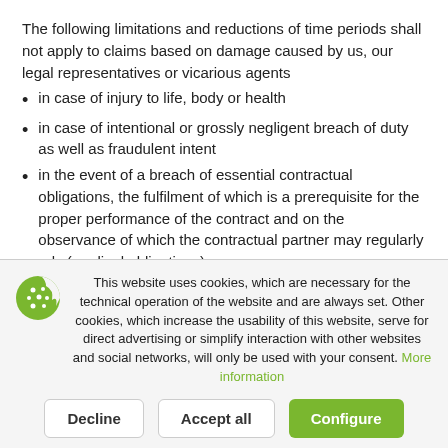The following limitations and reductions of time periods shall not apply to claims based on damage caused by us, our legal representatives or vicarious agents
in case of injury to life, body or health
in case of intentional or grossly negligent breach of duty as well as fraudulent intent
in the event of a breach of essential contractual obligations, the fulfilment of which is a prerequisite for the proper performance of the contract and on the observance of which the contractual partner may regularly rely (cardinal obligations)
within the scope of a guarantee promise, if agreed, or
insofar as the scope of application of the Product Liability Act is opened
This website uses cookies, which are necessary for the technical operation of the website and are always set. Other cookies, which increase the usability of this website, serve for direct advertising or simplify interaction with other websites and social networks, will only be used with your consent. More information